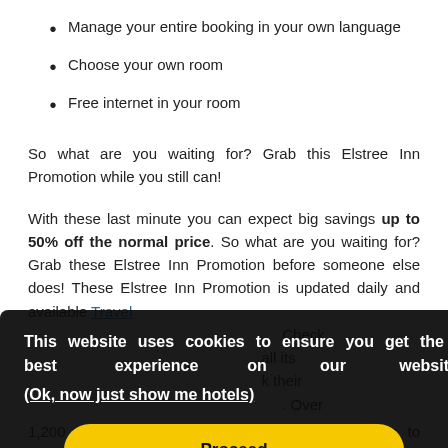Manage your entire booking in your own language
Choose your own room
Free internet in your room
So what are you waiting for? Grab this Elstree Inn Promotion while you still can!
With these last minute you can expect big savings up to 50% off the normal price. So what are you waiting for? Grab these Elstree Inn Promotion before someone else does! These Elstree Inn Promotion is updated daily and available Travel Check all its k their . Over
1,200 people enjoy working with us and contribute to provide
This website uses cookies to ensure you get the best experience on our website. (Ok, now just show me hotels)
Proceed